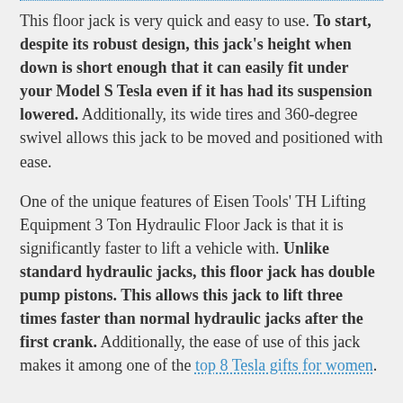This floor jack is very quick and easy to use. To start, despite its robust design, this jack's height when down is short enough that it can easily fit under your Model S Tesla even if it has had its suspension lowered. Additionally, its wide tires and 360-degree swivel allows this jack to be moved and positioned with ease.
One of the unique features of Eisen Tools' TH Lifting Equipment 3 Ton Hydraulic Floor Jack is that it is significantly faster to lift a vehicle with. Unlike standard hydraulic jacks, this floor jack has double pump pistons. This allows this jack to lift three times faster than normal hydraulic jacks after the first crank. Additionally, the ease of use of this jack makes it among one of the top 8 Tesla gifts for women.